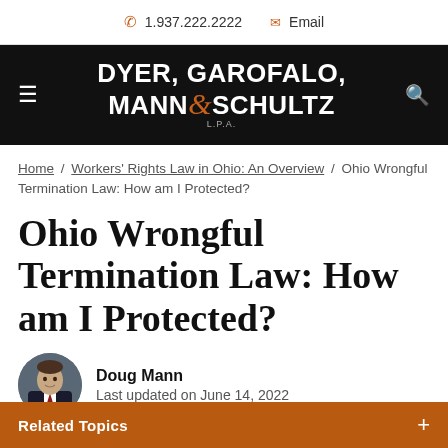1.937.222.2222  Email
[Figure (logo): Dyer, Garofalo, Mann & Schultz L.P.A. law firm logo on black background with hamburger menu and search icon]
Home / Workers’ Rights Law in Ohio: An Overview / Ohio Wrongful Termination Law: How am I Protected?
Ohio Wrongful Termination Law: How am I Protected?
Doug Mann
Last updated on June 14, 2022
Related Topics